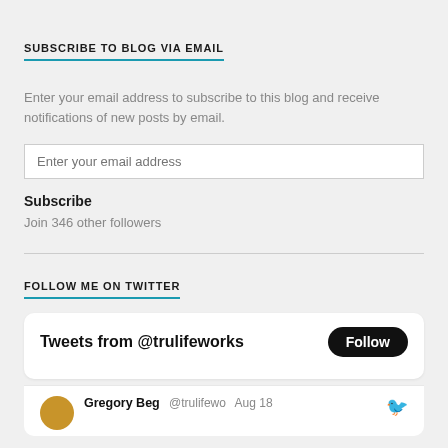SUBSCRIBE TO BLOG VIA EMAIL
Enter your email address to subscribe to this blog and receive notifications of new posts by email.
Enter your email address
Subscribe
Join 346 other followers
FOLLOW ME ON TWITTER
[Figure (screenshot): Twitter widget showing 'Tweets from @trulifeworks' with a Follow button and a tweet row with avatar, user Gregory Beg, handle @trulifewo, date Aug 18, and Twitter bird icon]